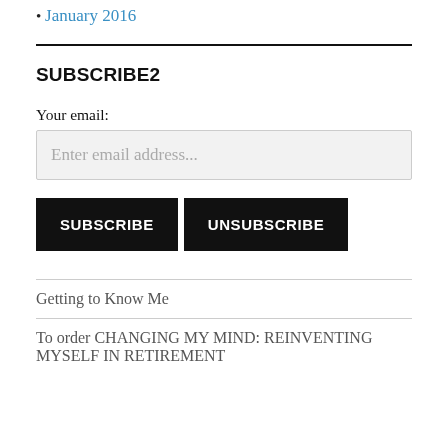January 2016
SUBSCRIBE2
Your email:
Enter email address...
[Figure (other): SUBSCRIBE and UNSUBSCRIBE buttons]
Getting to Know Me
To order CHANGING MY MIND: REINVENTING MYSELF IN RETIREMENT